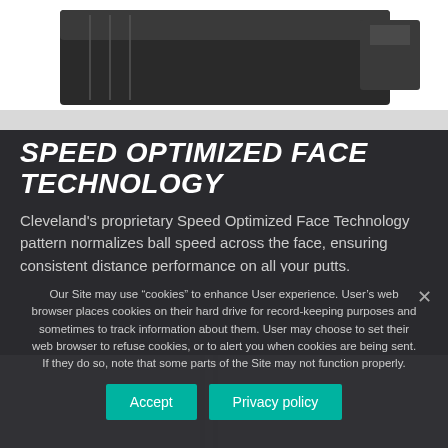[Figure (photo): Close-up product photo of a golf putter head, dark metallic finish against white background, showing grooves/face detail]
SPEED OPTIMIZED FACE TECHNOLOGY
Cleveland's proprietary Speed Optimized Face Technology pattern normalizes ball speed across the face, ensuring consistent distance performance on all your putts.
[Figure (photo): Second product image strip showing partial view of golf putter with light/white background]
Our Site may use “cookies” to enhance User experience. User’s web browser places cookies on their hard drive for record-keeping purposes and sometimes to track information about them. User may choose to set their web browser to refuse cookies, or to alert you when cookies are being sent. If they do so, note that some parts of the Site may not function properly.